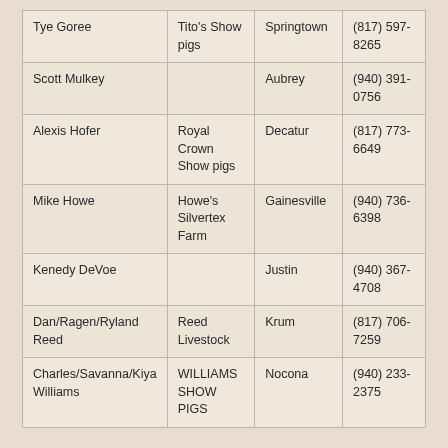| Tye Goree | Tito's Show pigs | Springtown | (817) 597-8265 |
| Scott Mulkey |  | Aubrey | (940) 391-0756 |
| Alexis Hofer | Royal Crown Show pigs | Decatur | (817) 773-6649 |
| Mike Howe | Howe's Silvertex Farm | Gainesville | (940) 736-6398 |
| Kenedy DeVoe |  | Justin | (940) 367-4708 |
| Dan/Ragen/Ryland Reed | Reed Livestock | Krum | (817) 706-7259 |
| Charles/Savanna/Kiya Williams | WILLIAMS SHOW PIGS | Nocona | (940) 233-2375 |